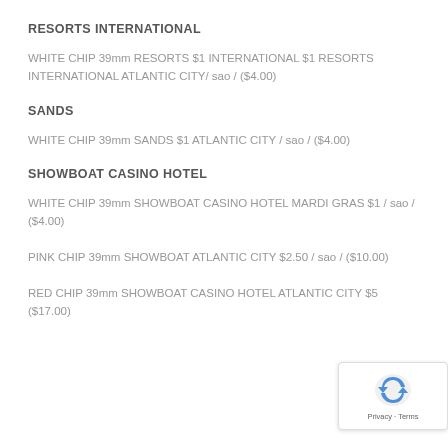RESORTS INTERNATIONAL
WHITE CHIP 39mm RESORTS $1 INTERNATIONAL $1 RESORTS INTERNATIONAL ATLANTIC CITY/ sao / ($4.00)
SANDS
WHITE CHIP 39mm SANDS $1 ATLANTIC CITY / sao / ($4.00)
SHOWBOAT CASINO HOTEL
WHITE CHIP 39mm SHOWBOAT CASINO HOTEL MARDI GRAS $1 / sao / ($4.00)
PINK CHIP 39mm SHOWBOAT ATLANTIC CITY $2.50 / sao / ($10.00)
RED CHIP 39mm SHOWBOAT CASINO HOTEL ATLANTIC CITY $5 / ($17.00)